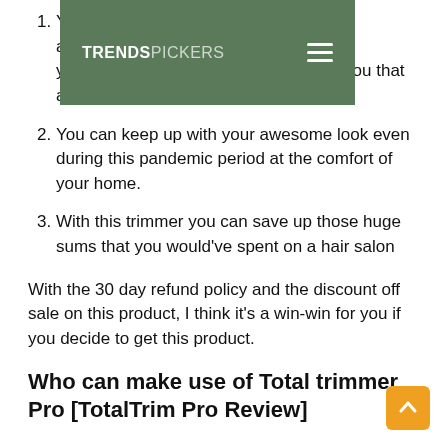You don't need to get an appointment with a barber to get your haircut. Total Trimmer Pro gives you that and at the comfort of your home.
You can keep up with your awesome look even during this pandemic period at the comfort of your home.
With this trimmer you can save up those huge sums that you would've spent on a hair salon
With the 30 day refund policy and the discount off sale on this product, I think it's a win-win for you if you decide to get this product.
Who can make use of Total trimmer Pro [TotalTrim Pro Review]